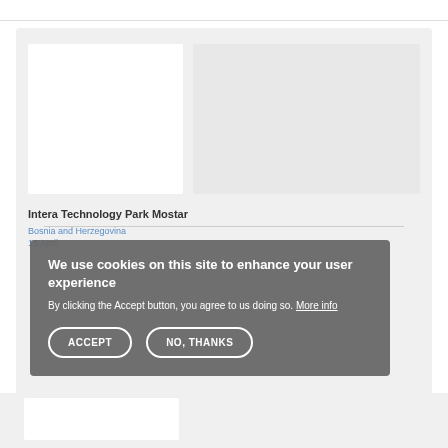[Figure (screenshot): Website screenshot showing a card with two image panels side by side on a light gray background]
Intera Technology Park Mostar
Bosnia and Herzegovina
15 April
[Figure (screenshot): Cookie consent overlay dialog with dark gray background]
We use cookies on this site to enhance your user experience
By clicking the Accept button, you agree to us doing so. More info
ACCEPT
NO, THANKS